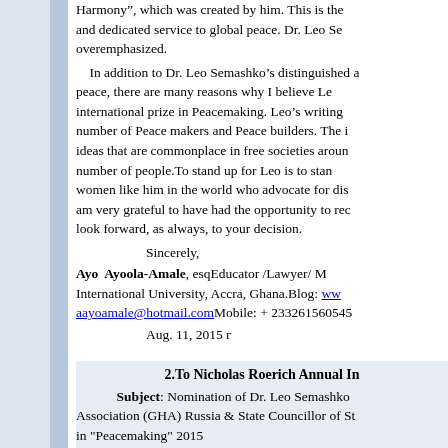Harmony", which was created by him. This is the and dedicated service to global peace. Dr. Leo Se overemphasized.
In addition to Dr. Leo Semashko's distinguished a peace, there are many reasons why I believe Le international prize in Peacemaking. Leo's writing number of Peace makers and Peace builders. The i ideas that are commonplace in free societies aroun number of people.To stand up for Leo is to stan women like him in the world who advocate for dis am very grateful to have had the opportunity to rec look forward, as always, to your decision.
Sincerely,
Ayo Ayoola-Amale, esqEducator /Lawyer/ M International University, Accra, Ghana.Blog: www aayoamale@hotmail.comMobile: + 233261560545
Aug. 11, 2015 г
2.To Nicholas Roerich Annual In
Subject: Nomination of Dr. Leo Semashko Association (GHA) Russia & State Councillor of St in "Peacemaking" 2015
It is my great pleasure to support & nomin Prize in the category -"Peacemaking" as he spent and peace for humanity. I recommend his name as